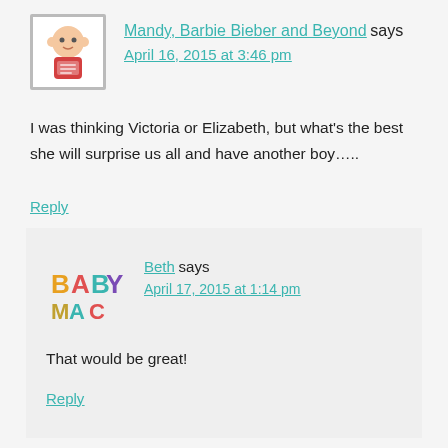Mandy, Barbie Bieber and Beyond says
April 16, 2015 at 3:46 pm
I was thinking Victoria or Elizabeth, but what's the best she will surprise us all and have another boy…..
Reply
Beth says
April 17, 2015 at 1:14 pm
That would be great!
Reply